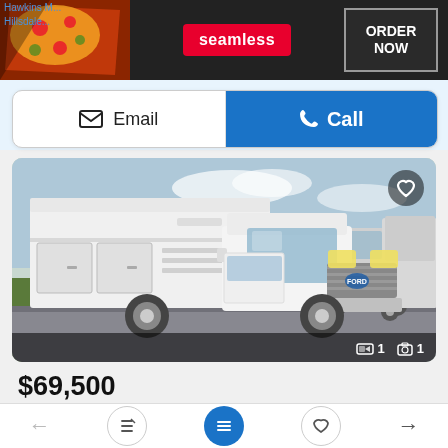[Figure (screenshot): Seamless food delivery advertisement banner with pizza image, Seamless logo in red, and ORDER NOW button]
Hawkins M...
Hillsdale...
Email
Call
[Figure (photo): 2023 Ford Econoline utility/service truck in white, parked in a lot with other vans visible in background. The truck has a large enclosed service body. Image shows 1 video and 1 photo available.]
$69,500
2023 FORD ECONOLINE Utility Truck - Service Truck
5 miles
LaFontaine Ford of Birch Run - Website